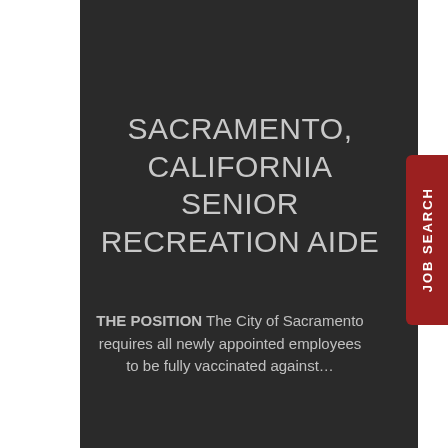SACRAMENTO, CALIFORNIA SENIOR RECREATION AIDE
THE POSITION The City of Sacramento requires all newly appointed employees to be fully vaccinated against...
[Figure (other): Red vertical tab on right side with rotated text reading JOB SEARCH]